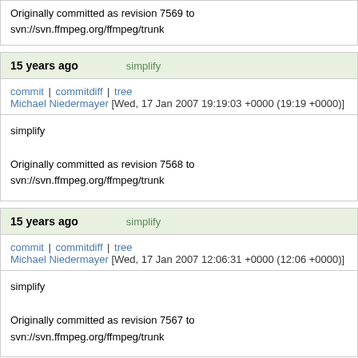Originally committed as revision 7569 to svn://svn.ffmpeg.org/ffmpeg/trunk
15 years ago   simplify
commit | commitdiff | tree
Michael Niedermayer [Wed, 17 Jan 2007 19:19:03 +0000 (19:19 +0000)]
simplify

Originally committed as revision 7568 to svn://svn.ffmpeg.org/ffmpeg/trunk
15 years ago   simplify
commit | commitdiff | tree
Michael Niedermayer [Wed, 17 Jan 2007 12:06:31 +0000 (12:06 +0000)]
simplify

Originally committed as revision 7567 to svn://svn.ffmpeg.org/ffmpeg/trunk
15 years ago   Avoid branches in the loop and solve a soo